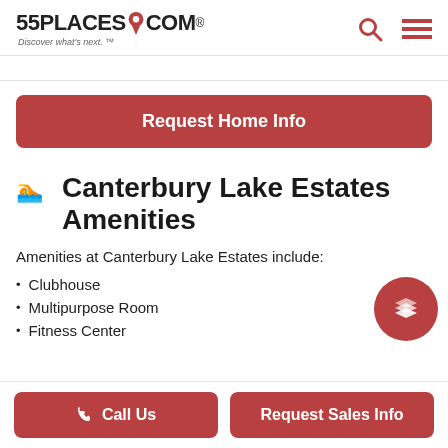55PLACES.COM Discover what's next.
Request Home Info
Canterbury Lake Estates Amenities
Amenities at Canterbury Lake Estates include:
Clubhouse
Multipurpose Room
Fitness Center
Call Us | Request Sales Info